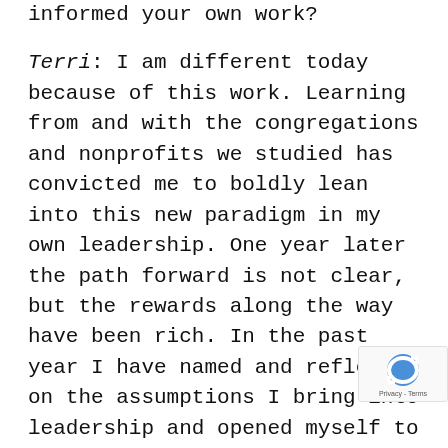informed your own work?

Terri: I am different today because of this work. Learning from and with the congregations and nonprofits we studied has convicted me to boldly lean into this new paradigm in my own leadership. One year later the path forward is not clear, but the rewards along the way have been rich. In the past year I have named and reflected on the assumptions I bring into leadership and opened myself to other possibilities. Teaching future congregational and nonprofits leaders I am introducing new ideas and experimenting with new teaching methods and assignments and those efforts